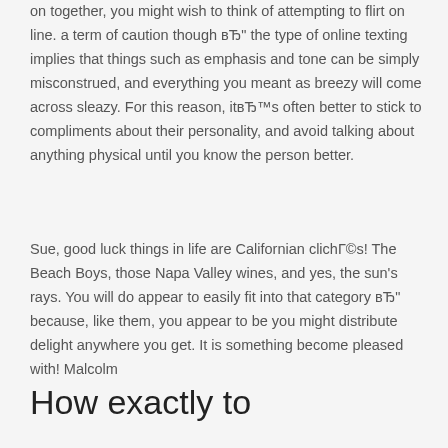on together, you might wish to think of attempting to flirt on line. a term of caution though вЂ" the type of online texting implies that things such as emphasis and tone can be simply misconstrued, and everything you meant as breezy will come across sleazy. For this reason, itвЂ™s often better to stick to compliments about their personality, and avoid talking about anything physical until you know the person better.
Sue, good luck things in life are Californian clichГ©s! The Beach Boys, those Napa Valley wines, and yes, the sun's rays. You will do appear to easily fit into that category вЂ" because, like them, you appear to be you might distribute delight anywhere you get. It is something become pleased with! Malcolm
How exactly to